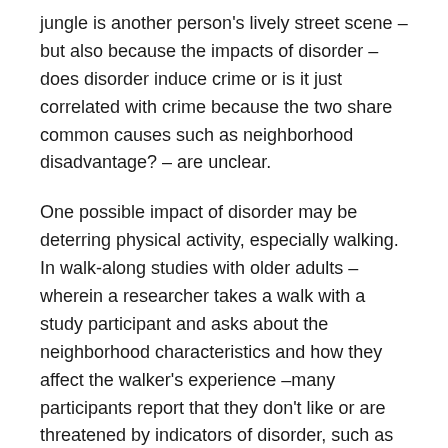jungle is another person's lively street scene – but also because the impacts of disorder – does disorder induce crime or is it just correlated with crime because the two share common causes such as neighborhood disadvantage? – are unclear.
One possible impact of disorder may be deterring physical activity, especially walking. In walk-along studies with older adults – wherein a researcher takes a walk with a study participant and asks about the neighborhood characteristics and how they affect the walker's experience –many participants report that they don't like or are threatened by indicators of disorder, such as graffiti, poor building maintenance, and similar signs of abandonment. But there has been relatively little rigorous longitudinal, population-based research on the extent to which disorder is a barrier to physical activity in practice